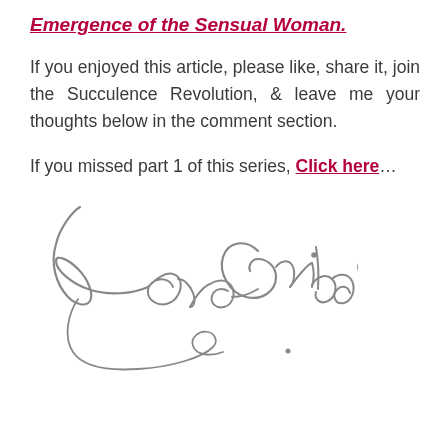Emergence of the Sensual Woman.
If you enjoyed this article, please like, share it, join the Succulence Revolution, & leave me your thoughts below in the comment section.
If you missed part 1 of this series, Click here…
[Figure (illustration): Handwritten cursive signature reading 'Love Guida' with a heart symbol and flourish loops beneath.]